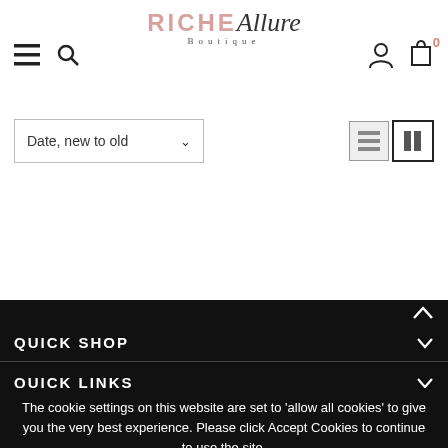[Figure (logo): RICHE Allure Boutique logo with hamburger menu, search icon, user icon, and cart icon showing 0]
Date, new to old ∨
[Figure (screenshot): View toggle icons: list view and grid view]
QUICK SHOP
QUICK LINKS
MY ACCOUNT
The cookie settings on this website are set to 'allow all cookies' to give you the very best experience. Please click Accept Cookies to continue to use the site.
JOIN THE VIP LIST
PRIVACY POLICY   ACCEPT ✓